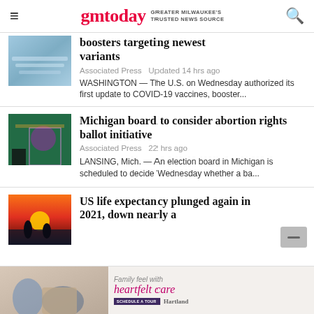gmtoday — GREATER MILWAUKEE'S TRUSTED NEWS SOURCE
boosters targeting newest variants
Associated Press  Updated 14 hrs ago
WASHINGTON — The U.S. on Wednesday authorized its first update to COVID-19 vaccines, booster...
Michigan board to consider abortion rights ballot initiative
Associated Press  22 hrs ago
LANSING, Mich. — An election board in Michigan is scheduled to decide Wednesday whether a ba...
US life expectancy plunged again in 2021, down nearly a
[Figure (photo): Advertisement banner for Hartland featuring heartfelt care messaging]